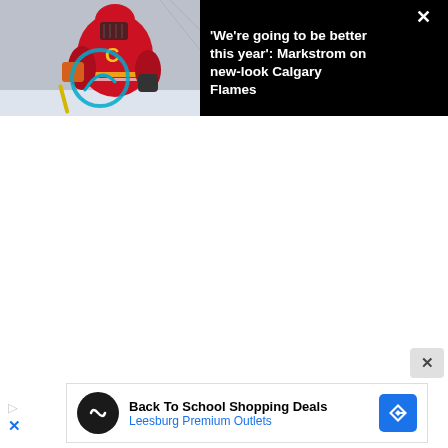[Figure (photo): Calgary Flames goalie in red uniform with Flames logo on chest, on ice, with hockey stick. News banner overlay on black background with close X button.]
'We're going to be better this year': Markstrom on new-look Calgary Flames
[Figure (screenshot): Advertisement banner: black circular logo with infinity-like symbol, text 'Back To School Shopping Deals' in bold and 'Leesburg Premium Outlets' in blue, blue diamond navigation icon on right.]